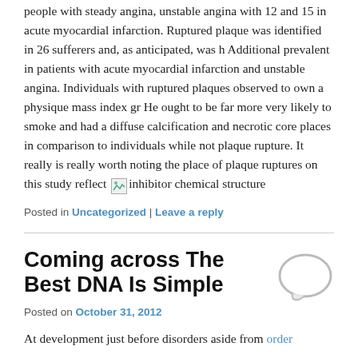people with steady angina, unstable angina with 12 and 15 in acute myocardial infarction. Ruptured plaque was identified in 26 sufferers and, as anticipated, was h Additional prevalent in patients with acute myocardial infarction and unstable angina. Individuals with ruptured plaques observed to own a physique mass index gr He ought to be far more very likely to smoke and had a diffuse calcification and necrotic core places in comparison to individuals while not plaque rupture. It really is really worth noting the place of plaque ruptures on this study reflect [inhibitor chemical structure image]
Posted in Uncategorized | Leave a reply
Coming across The Best DNA Is Simple
Posted on October 31, 2012
At development just before disorders aside from order